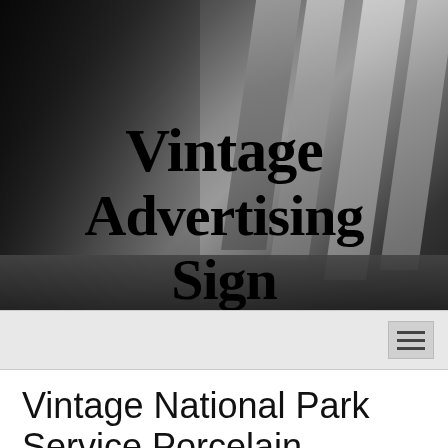[Figure (photo): Black and white photograph of architectural concrete or stone structural elements with diagonal stripes/columns, used as hero banner background]
Vintage Advertising Sign
Vintage National Park Service Porcelain